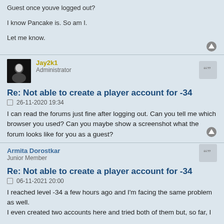Guest once youve logged out?

I know Pancake is. So am I.

Let me know.
Jay2k1
Administrator
Re: Not able to create a player account for -34
26-11-2020 19:34
I can read the forums just fine after logging out. Can you tell me which browser you used? Can you maybe show a screenshot what the forum looks like for you as a guest?
Armita Dorostkar
Junior Member
Re: Not able to create a player account for -34
06-11-2021 20:00
I reached level -34 a few hours ago and I'm facing the same problem as well.
I even created two accounts here and tried both of them but, so far, I